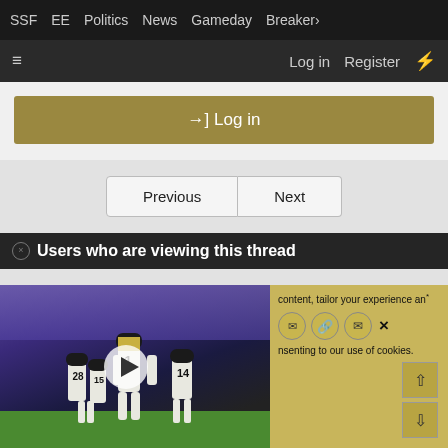SSF  EE  Politics  News  Gameday  Breaker>
≡  Log in  Register  ⚡
→] Log in
Previous  Next
Users who are viewing this thread
[Figure (photo): Football players in white and black uniforms on a stadium field with play button overlay]
content, tailor your experience and
nsenting to our use of cookies.
✓ Accept  Learn more...